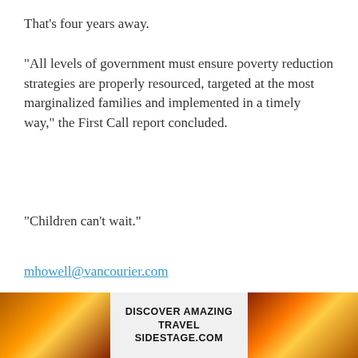That's four years away.
“All levels of government must ensure poverty reduction strategies are properly resourced, targeted at the most marginalized families and implemented in a timely way,” the First Call report concluded.
“Children can’t wait.”
mhowell@vancourier.com
@Howellings
[Figure (other): Advertisement placeholder box with grey background and 'Advertisement' label in light grey text, with a close (x) button.]
[Figure (infographic): Banner advertisement showing a sunset/travel image on left and right with bold text in center reading 'DISCOVER AMAZING TRAVEL SIDESTAGE.COM']